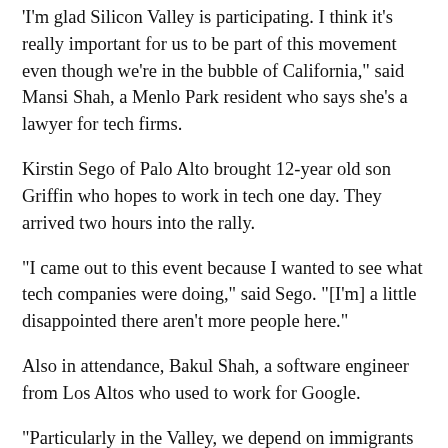'I'm glad Silicon Valley is participating. I think it's really important for us to be part of this movement even though we're in the bubble of California," said Mansi Shah, a Menlo Park resident who says she's a lawyer for tech firms.
Kirstin Sego of Palo Alto brought 12-year old son Griffin who hopes to work in tech one day. They arrived two hours into the rally.
"I came out to this event because I wanted to see what tech companies were doing," said Sego. "[I'm] a little disappointed there aren't more people here."
Also in attendance, Bakul Shah, a software engineer from Los Altos who used to work for Google.
"Particularly in the Valley, we depend on immigrants so